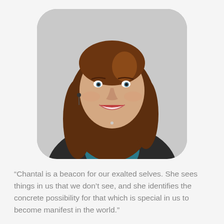[Figure (photo): Professional headshot of a smiling woman with long brown hair, wearing a dark blazer over a teal blouse, against a light gray background. The photo is displayed with rounded corners.]
“Chantal is a beacon for our exalted selves. She sees things in us that we don’t see, and she identifies the concrete possibility for that which is special in us to become manifest in the world.”